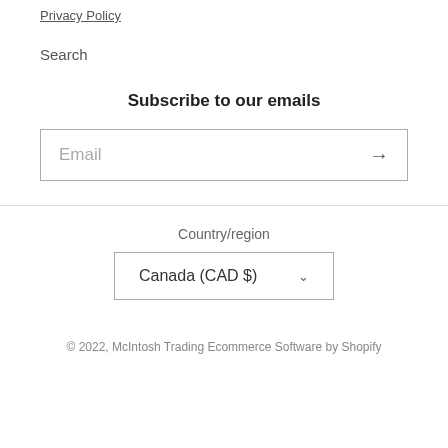Privacy Policy
Search
Subscribe to our emails
Email
Country/region
Canada (CAD $)
© 2022, McIntosh Trading Ecommerce Software by Shopify